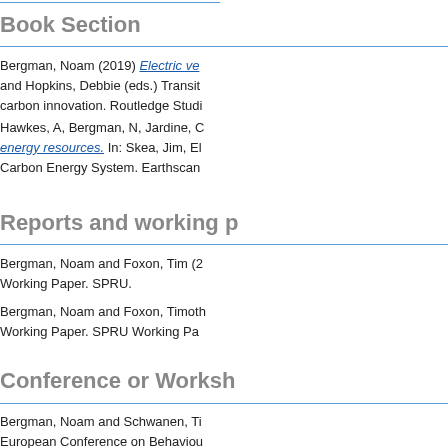Book Section
Bergman, Noam (2019) Electric ve... and Hopkins, Debbie (eds.) Transit... carbon innovation. Routledge Studi...
Hawkes, A, Bergman, N, Jardine, C... energy resources. In: Skea, Jim, El... Carbon Energy System. Earthscan...
Reports and working p...
Bergman, Noam and Foxon, Tim (2... Working Paper. SPRU.
Bergman, Noam and Foxon, Timoth... Working Paper. SPRU Working Pa...
Conference or Worksh...
Bergman, Noam and Schwanen, Ti... European Conference on Behaviou...